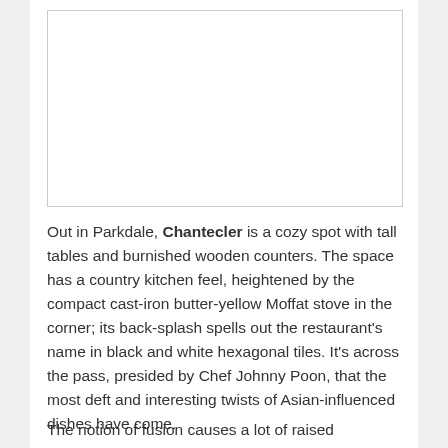[Figure (photo): A photograph of the interior of Chantecler restaurant showing the country kitchen atmosphere]
Out in Parkdale, Chantecler is a cozy spot with tall tables and burnished wooden counters. The space has a country kitchen feel, heightened by the compact cast-iron butter-yellow Moffat stove in the corner; its back-splash spells out the restaurant's name in black and white hexagonal tiles. It's across the pass, presided by Chef Johnny Poon, that the most deft and interesting twists of Asian-influenced dishes have come.
The notion of fusion causes a lot of raised